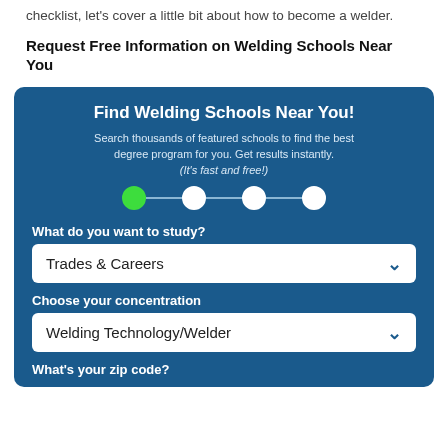checklist, let's cover a little bit about how to become a welder.
Request Free Information on Welding Schools Near You
[Figure (screenshot): Blue form widget titled 'Find Welding Schools Near You!' with subtitle text, a 4-step progress indicator (first step active/green), a dropdown showing 'Trades & Careers', a dropdown showing 'Welding Technology/Welder', and a partially visible 'What's your zip code?' label.]